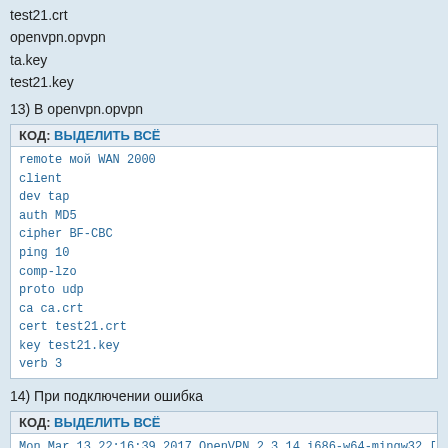test21.crt
openvpn.opvpn
ta.key
test21.key
13) В openvpn.opvpn
КОД: ВЫДЕЛИТЬ ВСЁ
remote мой WAN 2000
client
dev tap
auth MD5
cipher BF-CBC
ping 10
comp-lzo
proto udp
ca ca.crt
cert test21.crt
key test21.key
verb 3
14) При подключении ошибка
КОД: ВЫДЕЛИТЬ ВСЁ
Mon Mar 13 22:16:39 2017 OpenVPN 2.3.14 i686-w64-mingw32 [SSL
Mon Mar 13 22:16:39 2017 Windows Version 5.1 (Windows XP) 32b
Mon Mar 13 22:16:39 2017 library versions: OpenSSL 1.0.2k  26
Enter Management Password:
Mon Mar 13 22:16:39 2017 MANAGEMENT: TCP Socket listening ...